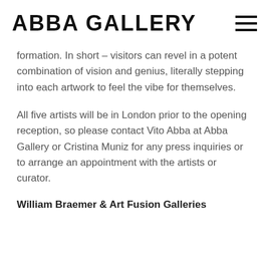ABBA GALLERY
formation. In short – visitors can revel in a potent combination of vision and genius, literally stepping into each artwork to feel the vibe for themselves.
All five artists will be in London prior to the opening reception, so please contact Vito Abba at Abba Gallery or Cristina Muniz for any press inquiries or to arrange an appointment with the artists or curator.
William Braemer & Art Fusion Galleries